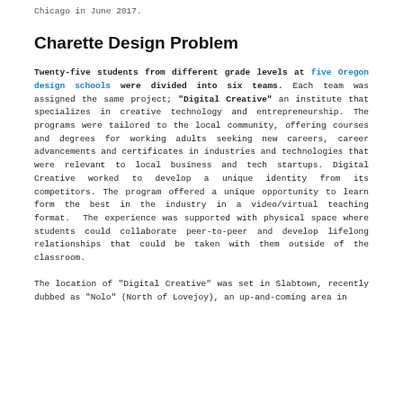Chicago in June 2017.
Charette Design Problem
Twenty-five students from different grade levels at five Oregon design schools were divided into six teams. Each team was assigned the same project; "Digital Creative" an institute that specializes in creative technology and entrepreneurship. The programs were tailored to the local community, offering courses and degrees for working adults seeking new careers, career advancements and certificates in industries and technologies that were relevant to local business and tech startups. Digital Creative worked to develop a unique identity from its competitors. The program offered a unique opportunity to learn form the best in the industry in a video/virtual teaching format.  The experience was supported with physical space where students could collaborate peer-to-peer and develop lifelong relationships that could be taken with them outside of the classroom.
The location of "Digital Creative" was set in Slabtown, recently dubbed as "Nolo" (North of Lovejoy), an up-and-coming area in